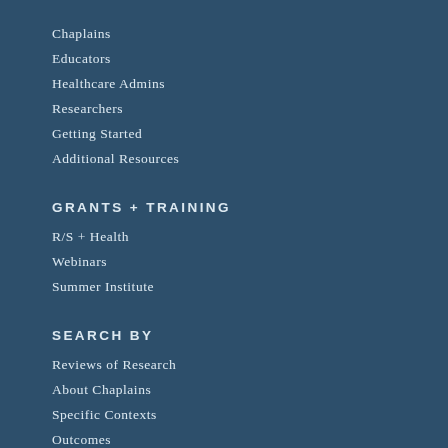Chaplains
Educators
Healthcare Admins
Researchers
Getting Started
Additional Resources
GRANTS + TRAINING
R/S + Health
Webinars
Summer Institute
SEARCH BY
Reviews of Research
About Chaplains
Specific Contexts
Outcomes
Care for Staff
Religious/Spiritual Struggle